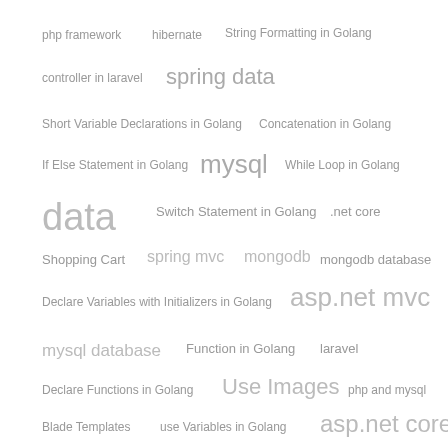php framework
hibernate
String Formatting in Golang
controller in laravel
spring data
Short Variable Declarations in Golang
Concatenation in Golang
If Else Statement in Golang
mysql
While Loop in Golang
data
Switch Statement in Golang
.net core
Shopping Cart
spring mvc
mongodb
mongodb database
Declare Variables with Initializers in Golang
asp.net mvc
mysql database
Function in Golang
laravel
Declare Functions in Golang
Use Images
php and mysql
Blade Templates
use Variables in Golang
asp.net core
spring data jpa
blade template laravel
For Loop in Golang